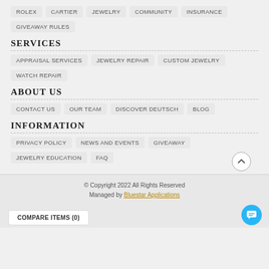ROLEX   CARTIER   JEWELRY   COMMUNITY   INSURANCE
GIVEAWAY RULES
SERVICES
APPRAISAL SERVICES   JEWELRY REPAIR   CUSTOM JEWELRY
WATCH REPAIR
ABOUT US
CONTACT US   OUR TEAM   DISCOVER DEUTSCH   BLOG
INFORMATION
PRIVACY POLICY   NEWS AND EVENTS   GIVEAWAY
JEWELRY EDUCATION   FAQ
© Copyright 2022 All Rights Reserved
Managed by Bluestar Applications
COMPARE ITEMS (0)